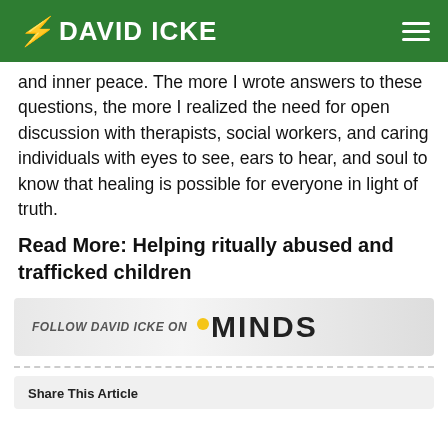DAVID ICKE
and inner peace. The more I wrote answers to these questions, the more I realized the need for open discussion with therapists, social workers, and caring individuals with eyes to see, ears to hear, and soul to know that healing is possible for everyone in light of truth.
Read More: Helping ritually abused and trafficked children
[Figure (logo): Follow David Icke on Minds banner advertisement]
Share This Article